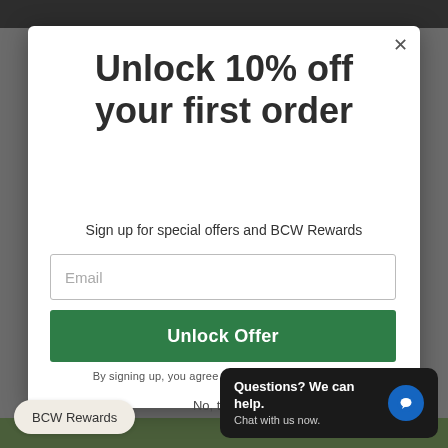Unlock 10% off your first order
Sign up for special offers and BCW Rewards
Email
Unlock Offer
By signing up, you agree to receive email marketing
No, thanks
BCW Rewards
Questions? We can help. Chat with us now.